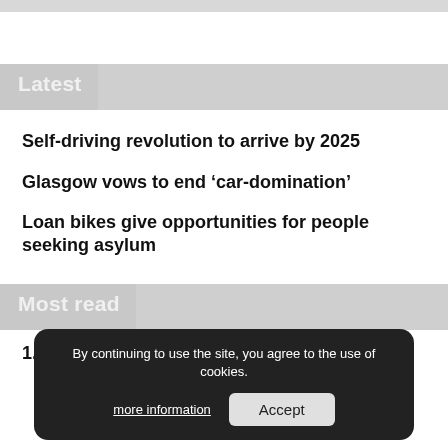Latest
Self-driving revolution to arrive by 2025
Glasgow vows to end ‘car-domination’
Loan bikes give opportunities for people seeking asylum
Most read
1. Surrey to introduce 20mph limits on rural roads
By continuing to use the site, you agree to the use of cookies. more information Accept